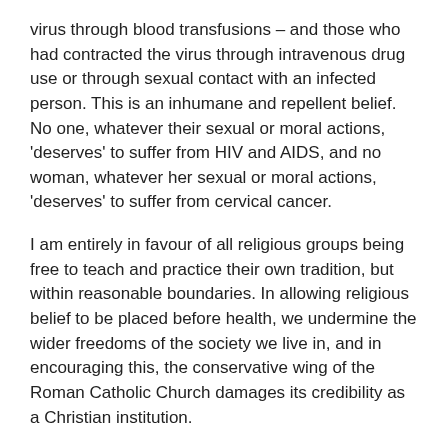virus through blood transfusions – and those who had contracted the virus through intravenous drug use or through sexual contact with an infected person. This is an inhumane and repellent belief. No one, whatever their sexual or moral actions, 'deserves' to suffer from HIV and AIDS, and no woman, whatever her sexual or moral actions, 'deserves' to suffer from cervical cancer.
I am entirely in favour of all religious groups being free to teach and practice their own tradition, but within reasonable boundaries. In allowing religious belief to be placed before health, we undermine the wider freedoms of the society we live in, and in encouraging this, the conservative wing of the Roman Catholic Church damages its credibility as a Christian institution.
This addition to an already expensive set of immunisations and mandatory health checks places another obstacle in the way